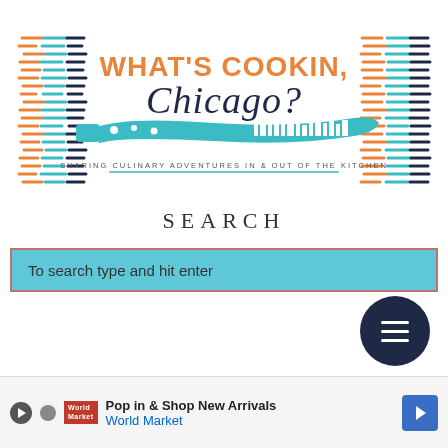[Figure (logo): What's Cookin, Chicago? blog logo with teal knife graphic and fish pattern background. Tagline: SHARING CULINARY ADVENTURES IN & OUT OF THE KITCHEN]
SEARCH
To search type and hit enter
Foodie Freebie Friday: Lodge
[Figure (infographic): Pop in & Shop New Arrivals - World Market advertisement banner]